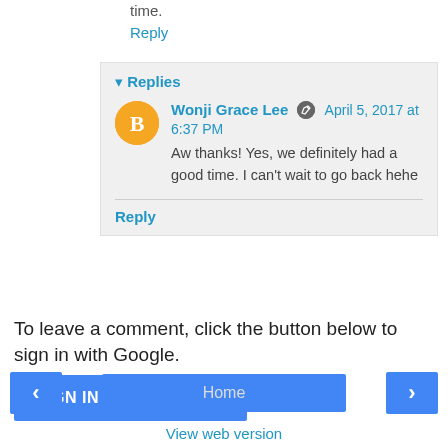time.
Reply
▾ Replies
Wonji Grace Lee  April 5, 2017 at 6:37 PM
Aw thanks! Yes, we definitely had a good time. I can't wait to go back hehe
Reply
To leave a comment, click the button below to sign in with Google.
SIGN IN WITH GOOGLE
‹
Home
›
View web version